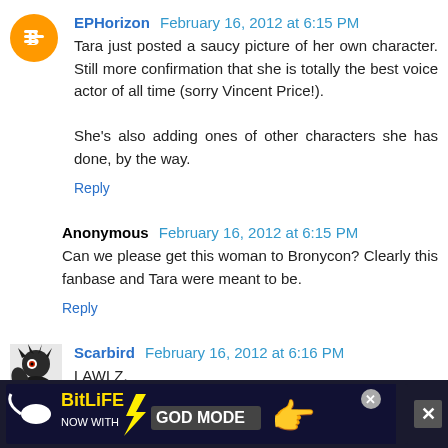[Figure (logo): Blogger orange circle avatar icon with white B letter]
EPHorizon February 16, 2012 at 6:15 PM
Tara just posted a saucy picture of her own character. Still more confirmation that she is totally the best voice actor of all time (sorry Vincent Price!).

She's also adding ones of other characters she has done, by the way.
Reply
Anonymous February 16, 2012 at 6:15 PM
Can we please get this woman to Bronycon? Clearly this fanbase and Tara were meant to be.
Reply
[Figure (illustration): Scarbird dark fantasy ghost/bird avatar icon]
Scarbird February 16, 2012 at 6:16 PM
LAWLZ.
[Figure (screenshot): BitLife advertisement banner - NOW WITH GOD MODE]